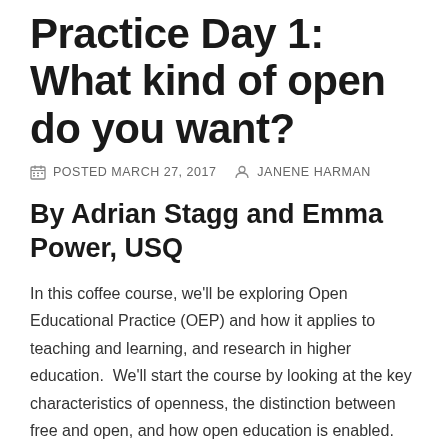Practice Day 1: What kind of open do you want?
POSTED MARCH 27, 2017   JANENE HARMAN
By Adrian Stagg and Emma Power, USQ
In this coffee course, we'll be exploring Open Educational Practice (OEP) and how it applies to teaching and learning, and research in higher education.  We'll start the course by looking at the key characteristics of openness, the distinction between free and open, and how open education is enabled.